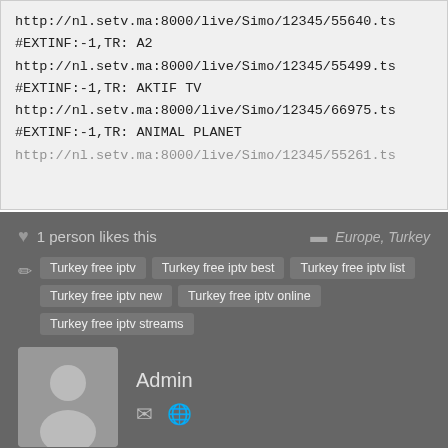http://nl.setv.ma:8000/live/Simo/12345/55640.ts
#EXTINF:-1,TR: A2
http://nl.setv.ma:8000/live/Simo/12345/55499.ts
#EXTINF:-1,TR: AKTIF TV
http://nl.setv.ma:8000/live/Simo/12345/66975.ts
#EXTINF:-1,TR: ANIMAL PLANET
http://nl.setv.ma:8000/live/Simo/12345/55261.ts
1 person likes this
Europe, Turkey
Turkey free iptv
Turkey free iptv best
Turkey free iptv list
Turkey free iptv new
Turkey free iptv online
Turkey free iptv streams
Admin